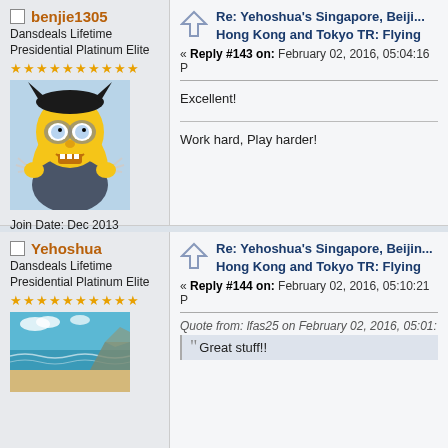benjie1305 - Dansdeals Lifetime Presidential Platinum Elite
Re: Yehoshua's Singapore, Beijing, Hong Kong and Tokyo TR: Flying
« Reply #143 on: February 02, 2016, 05:04:16 P
Excellent!
Work hard, Play harder!
Join Date: Dec 2013
Posts: 6144
Total likes: 15
DansDeals.com Hat Tips 15
Gender: ♂
Location: NY Area
Yehoshua - Dansdeals Lifetime Presidential Platinum Elite
Re: Yehoshua's Singapore, Beijing, Hong Kong and Tokyo TR: Flying
« Reply #144 on: February 02, 2016, 05:10:21 P
Quote from: lfas25 on February 02, 2016, 05:01:
Great stuff!!